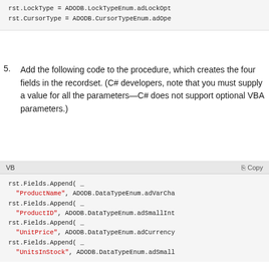[Figure (screenshot): Code block showing VB code: rst.LockType = ADODB.LockTypeEnum.adLockOpt and rst.CursorType = ADODB.CursorTypeEnum.adOpe]
5. Add the following code to the procedure, which creates the four fields in the recordset. (C# developers, note that you must supply a value for all the parameters—C# does not support optional VBA parameters.)
[Figure (screenshot): VB code block with Copy button showing: rst.Fields.Append( _ "ProductName", ADODB.DataTypeEnum.adVarCha rst.Fields.Append( _ "ProductID", ADODB.DataTypeEnum.adSmallInt rst.Fields.Append( _ "UnitPrice", ADODB.DataTypeEnum.adCurrency rst.Fields.Append( _ "UnitsInStock", ADODB.DataTypeEnum.adSmall]